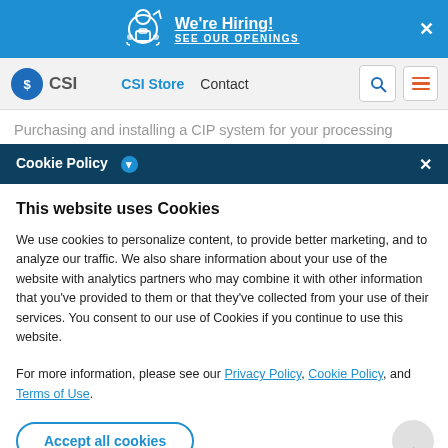[Figure (infographic): We're Hiring! banner with briefcase icon, blue background, close X button]
[Figure (infographic): CSI website navigation bar with logo, CSI Store, Contact links, search and menu buttons]
Purchasing and installing a CIP system for your processing
Cookie Policy
This website uses Cookies
We use cookies to personalize content, to provide better marketing, and to analyze our traffic. We also share information about your use of the website with analytics partners who may combine it with other information that you've provided to them or that they've collected from your use of their services. You consent to our use of Cookies if you continue to use this website.
For more information, please see our Privacy Policy, Cookie Policy, and Terms of Use.
Accept all cookies